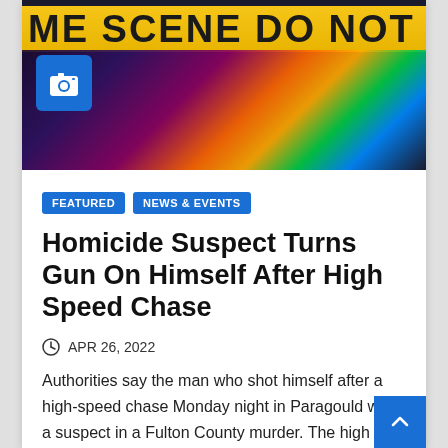[Figure (photo): Crime scene tape photo with text 'ME SCENE DO NOT CRO' visible, dark background with colorful lights, camera icon overlay in blue box]
FEATURED
NEWS & EVENTS
Homicide Suspect Turns Gun On Himself After High Speed Chase
APR 26, 2022
Authorities say the man who shot himself after a high-speed chase Monday night in Paragould was a suspect in a Fulton County murder. The high speed chase ended in a…